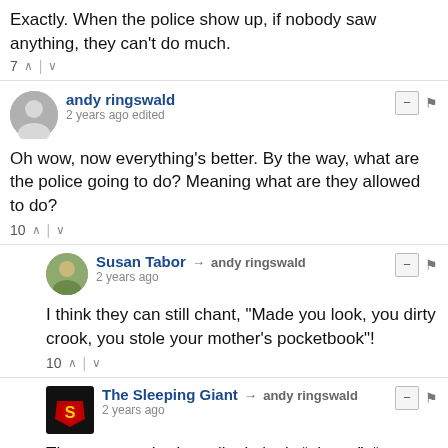Exactly. When the police show up, if nobody saw anything, they can't do much.
7 ^ | v
andy ringswald
2 years ago edited
Oh wow, now everything's better. By the way, what are the police going to do? Meaning what are they allowed to do?
10 ^ | v
Susan Tabor → andy ringswald
2 years ago
I think they can still chant, "Made you look, you dirty crook, you stole your mother's pocketbook"!
10 ^ | v
The Sleeping Giant → andy ringswald
2 years ago
They are required to tell criminals “please”, “excuse me”, and “thank you”. Also each car will have an ice chest filled with 40s in case the criminals are thirsty.